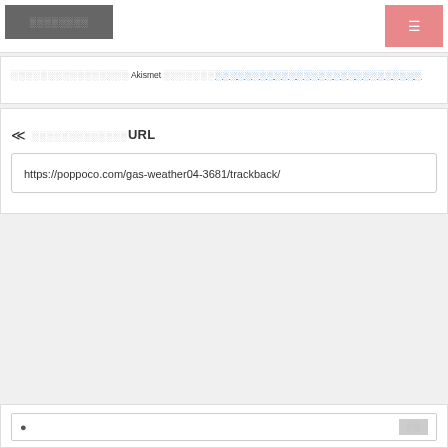░░░░░░░░ [menu button]
░░░░░░░░░░░░░░░░ Akismet ░░░░░░░░░░░░░░░░░░░░░░░░░░░░░░░░░░░░
« ░░░░░░░░░░░░░URL
https://poppoco.com/gas-weather04-3681/trackback/